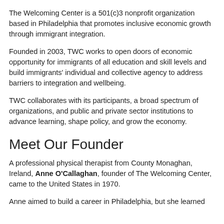The Welcoming Center is a 501(c)3 nonprofit organization based in Philadelphia that promotes inclusive economic growth through immigrant integration.
Founded in 2003, TWC works to open doors of economic opportunity for immigrants of all education and skill levels and build immigrants' individual and collective agency to address barriers to integration and wellbeing.
TWC collaborates with its participants, a broad spectrum of organizations, and public and private sector institutions to advance learning, shape policy, and grow the economy.
Meet Our Founder
A professional physical therapist from County Monaghan, Ireland, Anne O'Callaghan, founder of The Welcoming Center, came to the United States in 1970.
Anne aimed to build a career in Philadelphia, but she learned